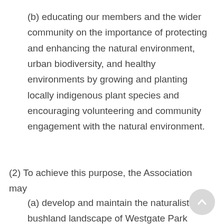(b) educating our members and the wider community on the importance of protecting and enhancing the natural environment, urban biodiversity, and healthy environments by growing and planting locally indigenous plant species and encouraging volunteering and community engagement with the natural environment.
(2) To achieve this purpose, the Association may
(a) develop and maintain the naturalistic, bushland landscape of Westgate Park using locally indigenous plant species